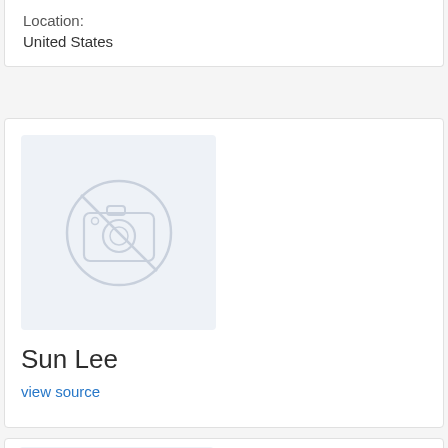Location:
United States
[Figure (other): Profile card for Sun Lee with a no-photo placeholder image]
Sun Lee
view source
[Figure (other): Partial profile card with a no-photo placeholder image at the bottom]